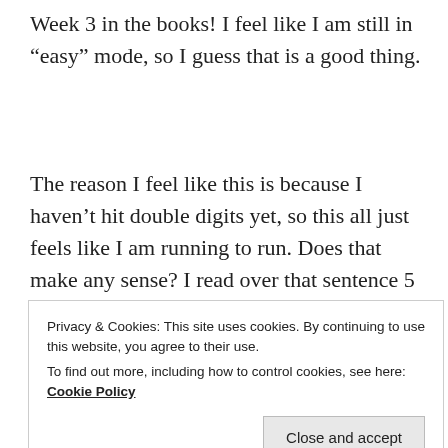Week 3 in the books! I feel like I am still in “easy” mode, so I guess that is a good thing.
The reason I feel like this is because I haven’t hit double digits yet, so this all just feels like I am running to run. Does that make any sense? I read over that sentence 5 times. I am just going to go with it!
Here is what my week looked like, I only ran three
Privacy & Cookies: This site uses cookies. By continuing to use this website, you agree to their use. To find out more, including how to control cookies, see here: Cookie Policy
Close and accept